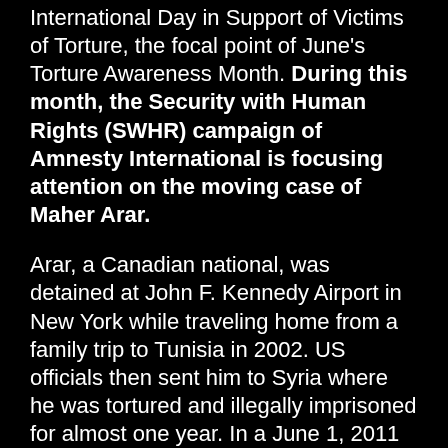International Day in Support of Victims of Torture, the focal point of June's Torture Awareness Month. During this month, the Security with Human Rights (SWHR) campaign of Amnesty International is focusing attention on the moving case of Maher Arar.
Arar, a Canadian national, was detained at John F. Kennedy Airport in New York while traveling home from a family trip to Tunisia in 2002. US officials then sent him to Syria where he was tortured and illegally imprisoned for almost one year. In a June 1, 2011 blog post, Tom Parker, Policy Director for the SWHR campaign, described how this innocent man was swept up by the post-9/11 US national security program.
Amnesty International has launched the "I Apologize" campaign to urge President Obama and Congress to apologize to Maher Arar and fulfill his right to a remedy. The campaign is focused